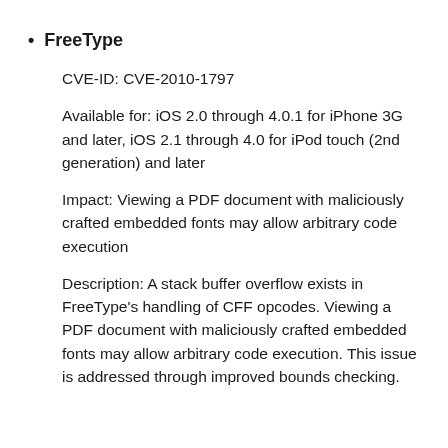FreeType
CVE-ID: CVE-2010-1797
Available for: iOS 2.0 through 4.0.1 for iPhone 3G and later, iOS 2.1 through 4.0 for iPod touch (2nd generation) and later
Impact: Viewing a PDF document with maliciously crafted embedded fonts may allow arbitrary code execution
Description: A stack buffer overflow exists in FreeType's handling of CFF opcodes. Viewing a PDF document with maliciously crafted embedded fonts may allow arbitrary code execution. This issue is addressed through improved bounds checking.